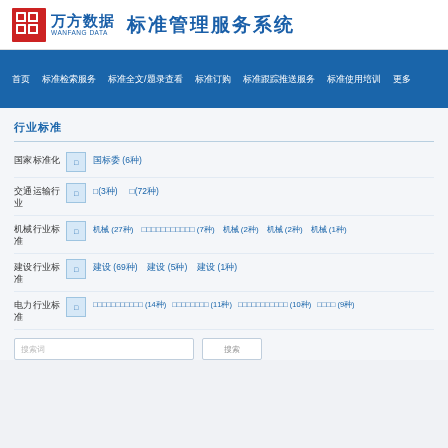万方数据 WANFANG DATA 标准管理服务系统
首页 标准检索服务 标准全文/题录查看 标准订购 标准跟踪推送服务 标准使用培训 更多
行业标准
国家标准化 □ 国标委 (6种)
交通运输行业 □ □(3种) □(72种)
机械行业标准 □ 机械 (27种) □□□□□□□□□□□ (7种) 机械 (2种) 机械 (2种) 机械 (1种)
建设行业标准 □ 建设 (69种) 建设 (5种) 建设 (1种)
电力行业标准 □ □□□□□□□□□□□ (14种) □□□□□□□□ (11种) □□□□□□□□□□□ (10种) □□□□ (9种)